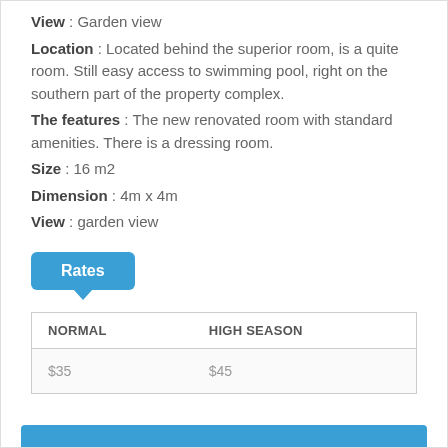View : Garden view
Location : Located behind the superior room, is a quite room. Still easy access to swimming pool, right on the southern part of the property complex.
The features : The new renovated room with standard amenities. There is a dressing room.
Size : 16 m2
Dimension : 4m x 4m
View : garden view
Rates
| NORMAL | HIGH SEASON |
| --- | --- |
| $35 | $45 |